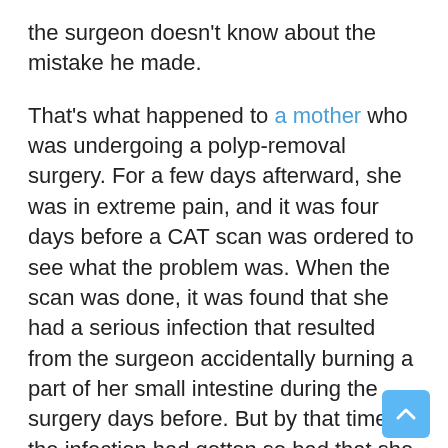the surgeon doesn't know about the mistake he made.
That's what happened to a mother who was undergoing a polyp-removal surgery. For a few days afterward, she was in extreme pain, and it was four days before a CAT scan was ordered to see what the problem was. When the scan was done, it was found that she had a serious infection that resulted from the surgeon accidentally burning a part of her small intestine during the surgery days before. But by that time, the infection had gotten so bad that she died before any corrective surgery could be done.
Her death from septic shock could have been